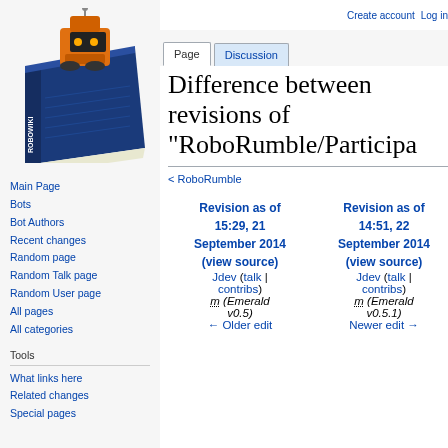[Figure (logo): Robowiki logo: blue book with orange robot on top, text ROBOWIKI on spine]
Create account  Log in
Page
Discussion
Read
View source
More
Difference between revisions of "RoboRumble/Participa
< RoboRumble
Main Page
Bots
Bot Authors
Recent changes
Random page
Random Talk page
Random User page
All pages
All categories
Tools
What links here
Related changes
Special pages
| Revision as of 15:29, 21 September 2014 (view source) | Revision as of 14:51, 22 September 2014 (view source) |
| --- | --- |
| Jdev (talk | contribs) | Jdev (talk | contribs) |
| m (Emerald v0.5) | m (Emerald v0.5.1) |
| ← Older edit | Newer edit → |